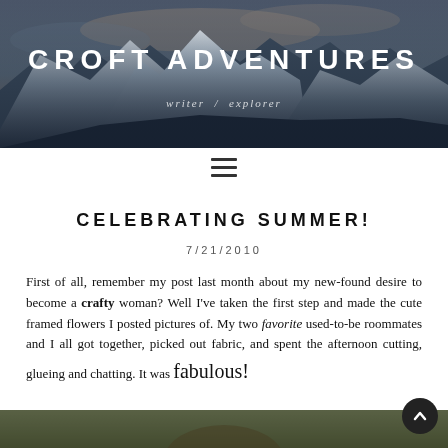[Figure (photo): Mountain landscape banner with snow-capped peaks and cloudy sky, dark blue-grey tones]
CROFT ADVENTURES
writer / explorer
[Figure (other): Hamburger menu icon (three horizontal lines)]
CELEBRATING SUMMER!
7/21/2010
First of all, remember my post last month about my new-found desire to become a crafty woman? Well I've taken the first step and made the cute framed flowers I posted pictures of. My two favorite used-to-be roommates and I all got together, picked out fabric, and spent the afternoon cutting, glueing and chatting. It was fabulous!
[Figure (photo): Partial bottom image strip, appears to be an outdoor/nature scene]